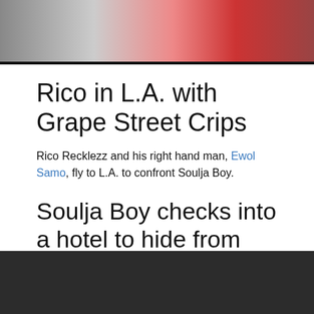[Figure (photo): Partial photo strip at top of page showing blurred figures with pink/red tones on dark background]
Rico in L.A. with Grape Street Crips
Rico Recklezz and his right hand man, Ewol Samo, fly to L.A. to confront Soulja Boy.
Soulja Boy checks into a hotel to hide from Rico Recklezz’ goons
Rico Recklezz with Ewol Samo Link Up with Grape Street Crips In Los Angeles.
[Figure (photo): Dark/black partial image at bottom of page]